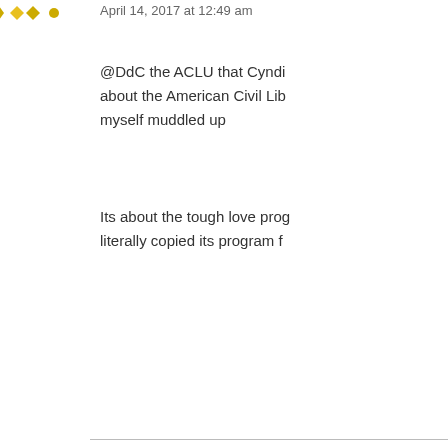[Figure (other): Yellow/gold diamond rating icons at top]
April 14, 2017 at 12:49 am
@DdC the ACLU that Cyndi about the American Civil Lib myself muddled up
Its about the tough love prog literally copied its program f
[Figure (illustration): Pixel art avatar of a green cat/character with a cannabis leaf]
DdC says:
April 14, 2017 at 1:16 am
Cool.
Now the latest bizCzar wants “treatment” facilities. More g Drew Etler needs to write mo